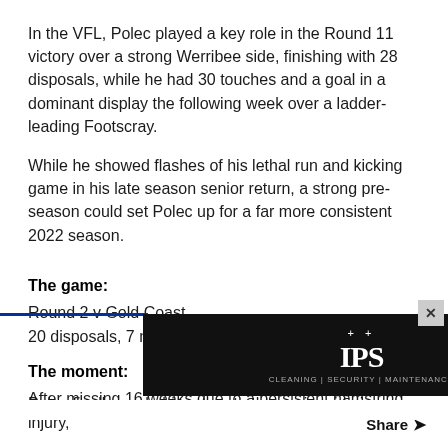In the VFL, Polec played a key role in the Round 11 victory over a strong Werribee side, finishing with 28 disposals, while he had 30 touches and a goal in a dominant display the following week over a ladder-leading Footscray.
While he showed flashes of his lethal run and kicking game in his late season senior return, a strong pre-season could set Polec up for a far more consistent 2022 season.
The game:
Round 2 v Gold Coast
20 disposals, 7 marks, 3 tackles, 6 intercepts.
The moment:
After missing 16 weeks due to a persistent hamstring injury,
[Figure (other): Advertisement banner for IPS Cleaning | Security | Maintenance with dark background and group photo on right side]
Share